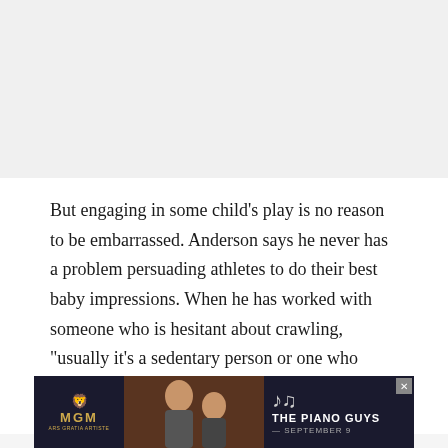[Figure (other): Gray placeholder area at top of page, representing an image or advertisement above the article text]
But engaging in some child's play is no reason to be embarrassed. Anderson says he never has a problem persuading athletes to do their best baby impressions. When he has worked with someone who is hesitant about crawling, "usually it's a sedentary person or one who doesn't smile a lot," he says. (Or in many cases, both:
[Figure (advertisement): MGM advertisement banner for The Piano Guys, showing MGM lion logo on dark background with photo of performers and text 'THE PIANO GUYS — SEPTEMBER 9']